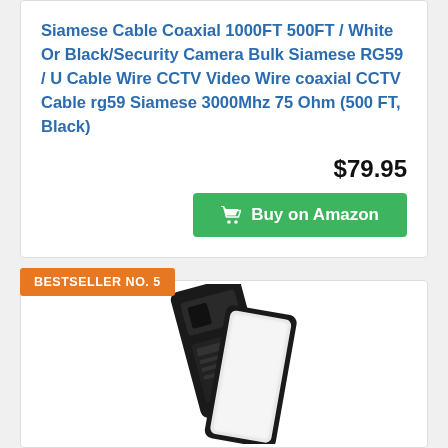Siamese Cable Coaxial 1000FT 500FT / White Or Black/Security Camera Bulk Siamese RG59 / U Cable Wire CCTV Video Wire coaxial CCTV Cable rg59 Siamese 3000Mhz 75 Ohm (500 FT, Black)
$79.95
Buy on Amazon
BESTSELLER NO. 5
[Figure (photo): Two slim rectangular LED panel lights shown from the back (black) and front (white LED panel), overlapping each other at an angle against a white background.]